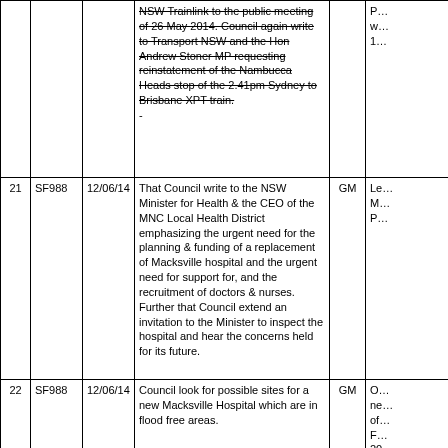| # | Ref | Date | Description | Resp | Status |
| --- | --- | --- | --- | --- | --- |
|  |  |  | NSW Trainlink to the public meeting of 26 May 2014. Council again write to Transport NSW and the Hon Andrew Stoner MP requesting reinstatement of the Nambucca Heads stop of the 2.41pm Sydney to Brisbane XPT train.
- |  | …w…1… |
| 21 | SF988 | 12/06/14 | That Council write to the NSW Minister for Health & the CEO of the MNC Local Health District emphasizing the urgent need for the planning & funding of a replacement of Macksville hospital and the urgent need for support for, and the recruitment of doctors & nurses.  Further that Council extend an invitation to the Minister to inspect the hospital and hear the concerns held for its future. | GM | Le…M…P… |
| 22 | SF988 | 12/06/14 | Council look for possible sites for a new Macksville Hospital which are in flood free areas. | GM | O…ne…of…F…20… |
| 23 | SF732 | 26/06/14 | Council seek funding in the | GM | A… |